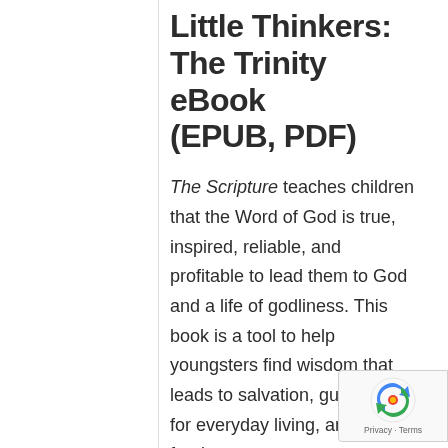Little Thinkers: The Trinity eBook (EPUB, PDF)
The Scripture teaches children that the Word of God is true, inspired, reliable, and profitable to lead them to God and a life of godliness. This book is a tool to help youngsters find wisdom that leads to salvation, guidance for everyday living, and hope for the